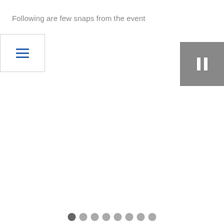Following are few snaps from the event
[Figure (screenshot): Menu button (hamburger icon with three blue horizontal lines) in a white bordered box on the left, and a gray pause button (two vertical white bars) on the right. Below, a row of gray navigation dots near the bottom of the page.]